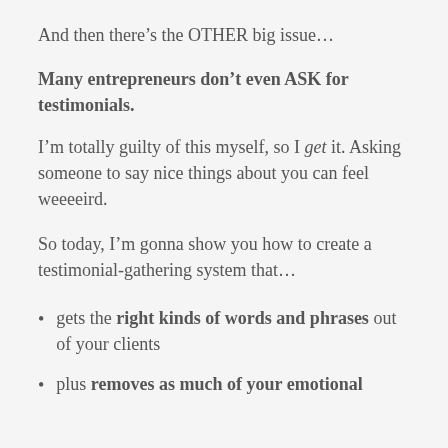And then there’s the OTHER big issue…
Many entrepreneurs don’t even ASK for testimonials.
I’m totally guilty of this myself, so I get it. Asking someone to say nice things about you can feel weeeeird.
So today, I’m gonna show you how to create a testimonial-gathering system that…
gets the right kinds of words and phrases out of your clients
plus removes as much of your emotional